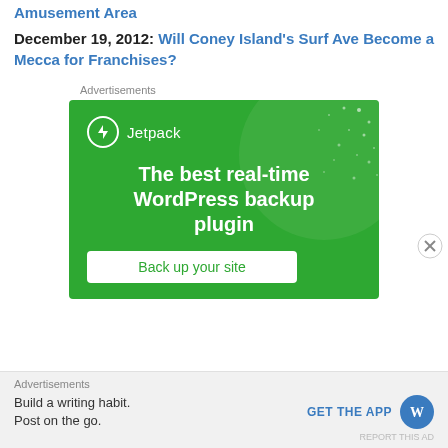Amusement Area
December 19, 2012: Will Coney Island's Surf Ave Become a Mecca for Franchises?
Advertisements
[Figure (infographic): Jetpack WordPress plugin advertisement. Green background with large circle graphic and dot pattern. Shows Jetpack logo and text: 'The best real-time WordPress backup plugin' with a 'Back up your site' button.]
Advertisements
[Figure (infographic): WordPress app advertisement on grey bar: 'Build a writing habit. Post on the go.' with 'GET THE APP' link and WordPress logo circle.]